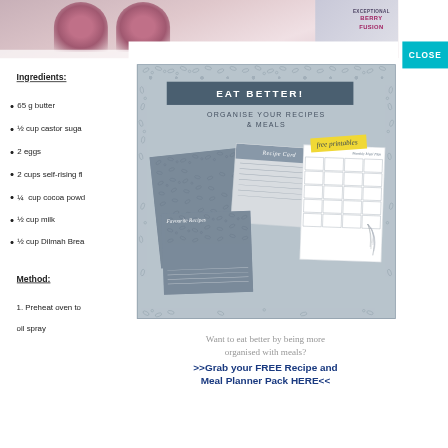[Figure (photo): Background photo showing baked goods or berries in cupcake wrappers, partially visible at top of page]
Ingredients:
65 g butter
½ cup castor suga
2 eggs
2 cups self-rising fl
¼  cup cocoa powd
½ cup milk
½ cup Dilmah Brea
Method:
1. Preheat oven to
[Figure (screenshot): Popup overlay showing a recipe and meal planner promotional card. Contains 'EAT BETTER!' header in dark slate box, 'ORGANISE YOUR RECIPES & MEALS' text, 'free printables' yellow tag, and illustrations of recipe cards and a monthly meal planner. A teal CLOSE button appears at top right.]
Want to eat better by being more organised with meals?
>>Grab your FREE Recipe and Meal Planner Pack HERE<<